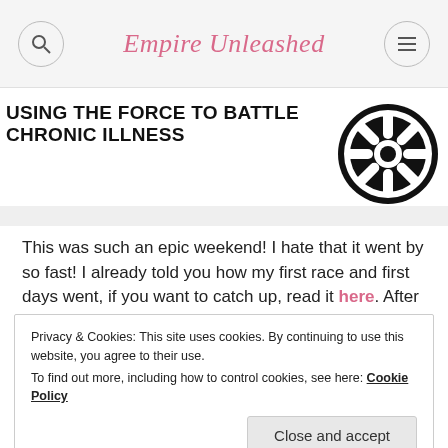Empire Unleashed
USING THE FORCE TO BATTLE CHRONIC ILLNESS
[Figure (logo): Star Wars Galactic Empire insignia — black circular logo with stylized cog/wheel design]
This was such an epic weekend! I hate that it went by so fast! I already told you how my first race and first days went, if you want to catch up, read it here. After I had
Privacy & Cookies: This site uses cookies. By continuing to use this website, you agree to their use.
To find out more, including how to control cookies, see here: Cookie Policy
Close and accept